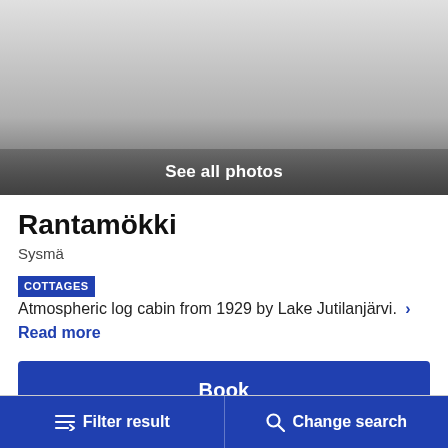[Figure (photo): Photo area with gradient overlay and 'See all photos' button at the bottom]
Rantamökki
Sysmä
COTTAGES Atmospheric log cabin from 1929 by Lake Jutilanjärvi. > Read more
Book
Filter result   Change search